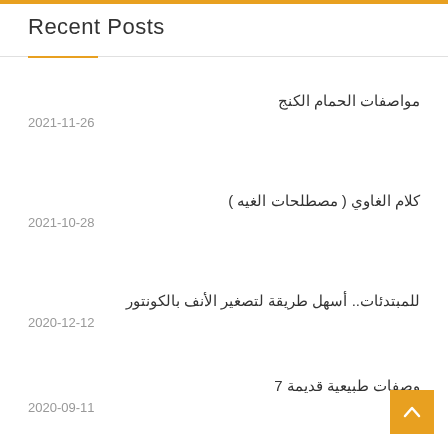Recent Posts
مواصفات الحمام الكنج
2021-11-26
كلام الغاوي ( مصطلحات الغيه )
2021-10-28
للمبتدئات.. أسهل طريقة لتصغير الأنف بالكونتور
2020-12-12
وصفات طبيعية قديمة 7
2020-09-11